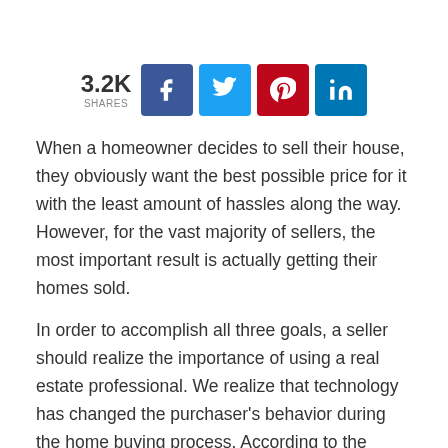[Figure (infographic): Social share bar showing 3.2K shares with Facebook, Twitter, Pinterest, and LinkedIn buttons]
When a homeowner decides to sell their house, they obviously want the best possible price for it with the least amount of hassles along the way. However, for the vast majority of sellers, the most important result is actually getting their homes sold.
In order to accomplish all three goals, a seller should realize the importance of using a real estate professional. We realize that technology has changed the purchaser's behavior during the home buying process. According to the National Association of Realtors' 2016 Profile of Home Buyers & Sellers, the percentage of buyers who used the internet in their